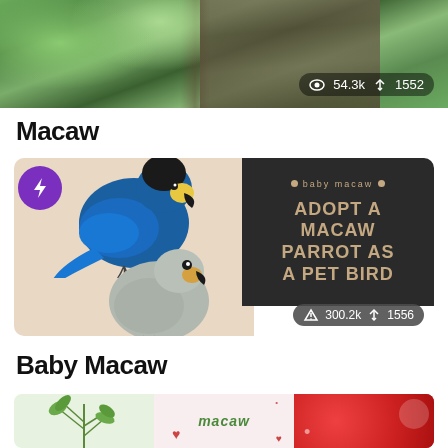[Figure (photo): Top portion of a photo showing green foliage and tree bark (bird/nature scene), partially cropped at top. Stats overlay shows 54.3k views and 1552.]
Macaw
[Figure (photo): Macaw card image: left side shows blue-and-gold macaw on beige background plus a baby macaw below, with purple lightning bolt badge in top-left corner. Right side shows dark panel with 'baby macaw' label and text 'ADOPT A MACAW PARROT AS A PET BIRD' in rose-brown uppercase. Stats overlay shows 300.2k views and 1556.]
Baby Macaw
[Figure (photo): Bottom strip showing three partial thumbnail images: left has green plant/herb illustration on light background, middle has green 'macaw' text on light pink background with heart decorations, right has red and white pattern.]